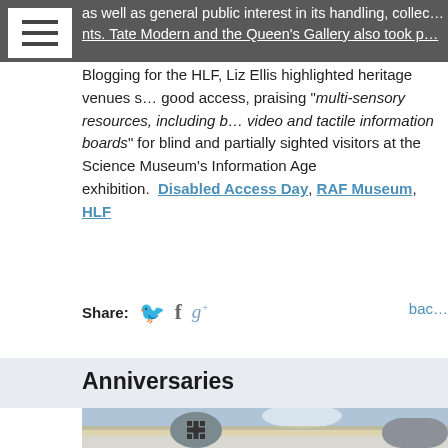as well as general public interest in its handling, collec… nts. Tate Modern and the Queen's Gallery also took p…
Blogging for the HLF, Liz Ellis highlighted heritage venues s… good access, praising "multi-sensory resources, including b… video and tactile information boards" for blind and partially sighted visitors at the Science Museum's Information Age exhibition.  Disabled Access Day, RAF Museum, HLF
Share:  [twitter] [facebook] [google+]   bac…
Anniversaries
[Figure (photo): Painting showing gravestone-like objects including one with a swastika emblem, set against a landscape with hills and sky.]